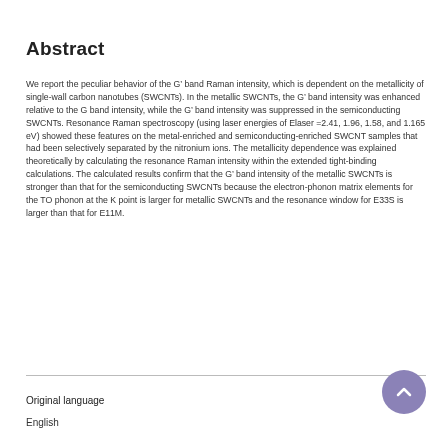Abstract
We report the peculiar behavior of the G’ band Raman intensity, which is dependent on the metallicity of single-wall carbon nanotubes (SWCNTs). In the metallic SWCNTs, the G’ band intensity was enhanced relative to the G band intensity, while the G’ band intensity was suppressed in the semiconducting SWCNTs. Resonance Raman spectroscopy (using laser energies of Elaser =2.41, 1.96, 1.58, and 1.165 eV) showed these features on the metal-enriched and semiconducting-enriched SWCNT samples that had been selectively separated by the nitronium ions. The metallicity dependence was explained theoretically by calculating the resonance Raman intensity within the extended tight-binding calculations. The calculated results confirm that the G’ band intensity of the metallic SWCNTs is stronger than that for the semiconducting SWCNTs because the electron-phonon matrix elements for the TO phonon at the K point is larger for metallic SWCNTs and the resonance window for E33S is larger than that for E11M.
Original language
English